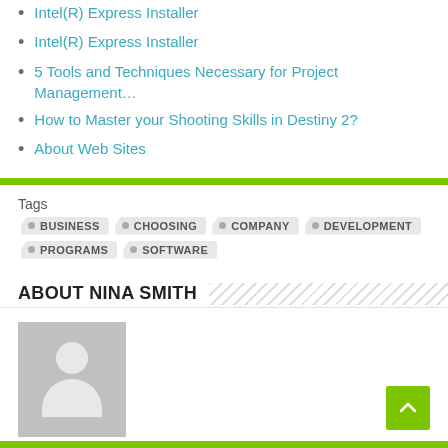Intel(R) Express Installer
Intel(R) Express Installer
5 Tools and Techniques Necessary for Project Management…
How to Master your Shooting Skills in Destiny 2?
About Web Sites
Tags  BUSINESS  CHOOSING  COMPANY  DEVELOPMENT  PROGRAMS  SOFTWARE
ABOUT NINA SMITH
[Figure (illustration): Placeholder avatar image showing a silhouette of a person on a grey background]